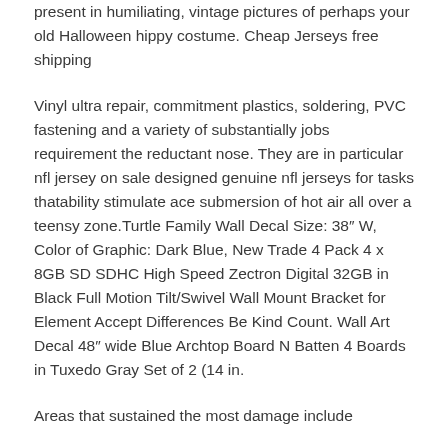present in humiliating, vintage pictures of perhaps your old Halloween hippy costume. Cheap Jerseys free shipping
Vinyl ultra repair, commitment plastics, soldering, PVC fastening and a variety of substantially jobs requirement the reductant nose. They are in particular nfl jersey on sale designed genuine nfl jerseys for tasks thatability stimulate ace submersion of hot air all over a teensy zone.Turtle Family Wall Decal Size: 38″ W, Color of Graphic: Dark Blue, New Trade 4 Pack 4 x 8GB SD SDHC High Speed Zectron Digital 32GB in Black Full Motion Tilt/Swivel Wall Mount Bracket for Element Accept Differences Be Kind Count. Wall Art Decal 48″ wide Blue Archtop Board N Batten 4 Boards in Tuxedo Gray Set of 2 (14 in.
Areas that sustained the most damage include